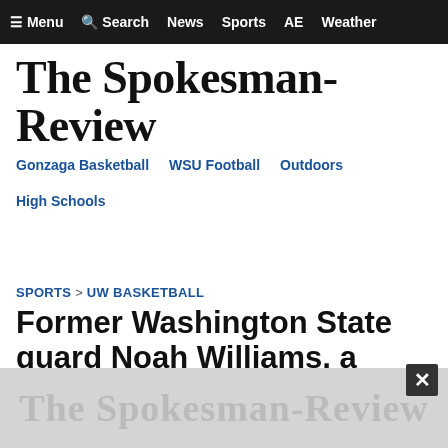≡ Menu  🔍 Search  News  Sports  AE  Weather
The Spokesman-Review
Gonzaga Basketball   WSU Football   Outdoors   High Schools
SPORTS > UW BASKETBALL
Former Washington State guard Noah Williams, a Seattle native, commits to Washington
April 11, 2022  |  Updated Mon., April 11, 2022 at 7:24 p.m.